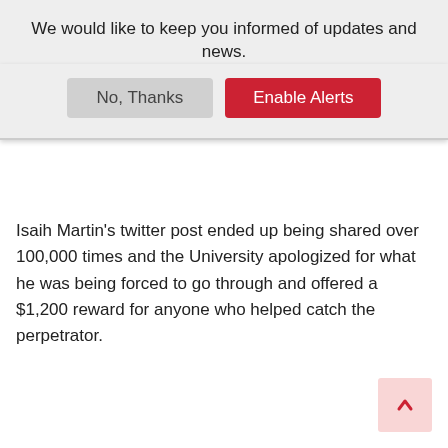We would like to keep you informed of updates and news.
[Figure (screenshot): Two buttons: 'No, Thanks' (gray) and 'Enable Alerts' (red) in a notification bar]
Isaih Martin's twitter post ended up being shared over 100,000 times and the University apologized for what he was being forced to go through and offered a $1,200 reward for anyone who helped catch the perpetrator.